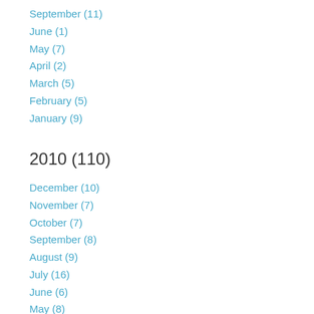September (11)
June (1)
May (7)
April (2)
March (5)
February (5)
January (9)
2010 (110)
December (10)
November (7)
October (7)
September (8)
August (9)
July (16)
June (6)
May (8)
April (11)
March (8)
February (10)
January (10)